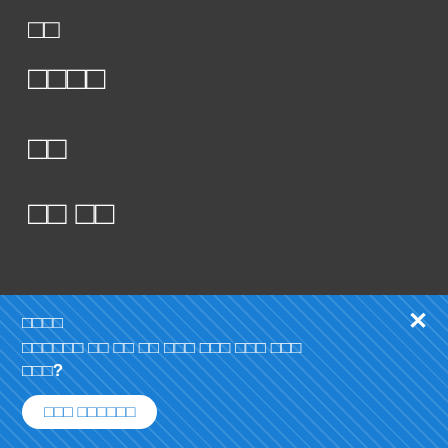□□
□□□□
□□
□□ □□
□□□□
[Figure (screenshot): Teal dropdown button with globe icon and text □□□ with dropdown arrow]
□□□□
□□□□□□ □□ □□ □□ □□□ □□□ □□□ □□□ □□□?
□□□ □□□□□□